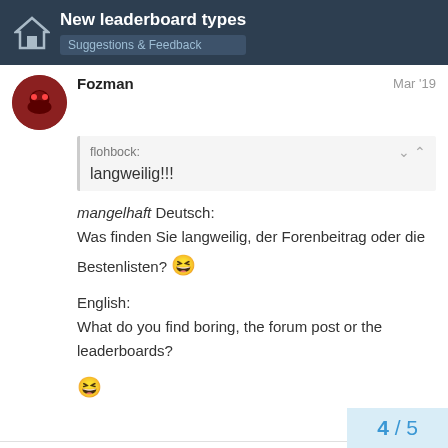New leaderboard types | Suggestions & Feedback
Fozman   Mar '19
flohbock:
langweilig!!!
mangelhaft Deutsch:
Was finden Sie langweilig, der Forenbeitrag oder die Bestenlisten? 😆

English:
What do you find boring, the forum post or the leaderboards? 😆
4 / 5